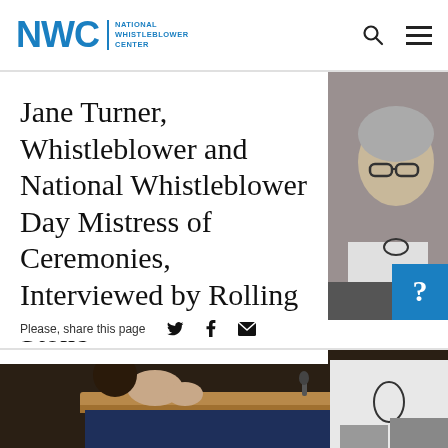NWC | National Whistleblower Center
Jane Turner, Whistleblower and National Whistleblower Day Mistress of Ceremonies, Interviewed by Rolling Stone
Please, share this page
[Figure (photo): Woman with gray hair and glasses speaking at a podium with microphone, wearing white jacket and dark necklace; another person visible in background]
[Figure (photo): Side panel photo of woman with glasses]